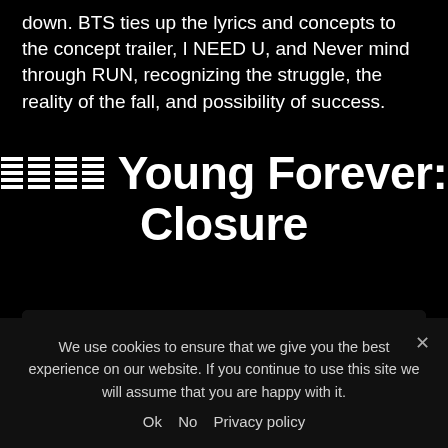down. BTS ties up the lyrics and concepts to the concept trailer, I NEED U, and Never mind through RUN, recognizing the struggle, the reality of the fall, and possibility of success.
Young Forever: Closure
[Figure (screenshot): YouTube video embed showing BTS (방탄소년단) 'EPILOGUE : Young Fore...' with HYBE LABELS channel icon, purple/dark thumbnail with silhouette]
We use cookies to ensure that we give you the best experience on our website. If you continue to use this site we will assume that you are happy with it.
Ok   No   Privacy policy